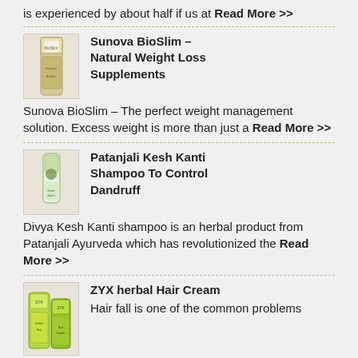is experienced by about half if us at Read More >>
[Figure (illustration): Sunova BioSlim supplement bottle]
Sunova BioSlim – Natural Weight Loss Supplements
Sunova BioSlim – The perfect weight management solution. Excess weight is more than just a Read More >>
[Figure (illustration): Patanjali Kesh Kanti shampoo bottle with green herbal imagery]
Patanjali Kesh Kanti Shampoo To Control Dandruff
Divya Kesh Kanti shampoo is an herbal product from Patanjali Ayurveda which has revolutionized the Read More >>
[Figure (illustration): ZYX herbal Hair Cream product boxes in green packaging]
ZYX herbal Hair Cream
Hair fall is one of the common problems among people which may even lead to Read More >>